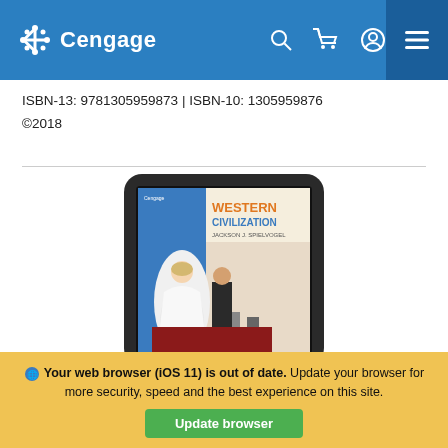Cengage
ISBN-13: 9781305959873 | ISBN-10: 1305959876
©2018
[Figure (illustration): A tablet device displaying the cover of the textbook 'Western Civilization 10th Edition' by Cengage. The cover shows two historical figures — a woman in a white gown and a man in dark clothing seated at a table.]
Western Civilization 10th Edition
Your web browser (iOS 11) is out of date. Update your browser for more security, speed and the best experience on this site.